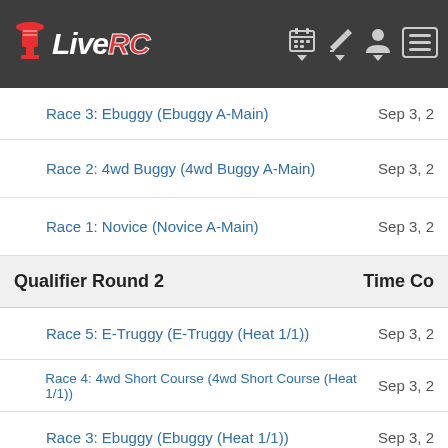LiveRC
Race 3: Ebuggy (Ebuggy A-Main) — Sep 3, 2...
Race 2: 4wd Buggy (4wd Buggy A-Main) — Sep 3, 2...
Race 1: Novice (Novice A-Main) — Sep 3, 2...
Qualifier Round 2 | Time Co...
Race 5: E-Truggy (E-Truggy (Heat 1/1)) — Sep 3, 2...
Race 4: 4wd Short Course (4wd Short Course (Heat 1/1)) — Sep 3, 2...
Race 3: Ebuggy (Ebuggy (Heat 1/1)) — Sep 3, 2...
Race 2: 4wd Buggy (4wd Buggy (Heat 1/1)) — Sep 3, 2...
Race 1: Novice (Novice (Heat 1/1)) — Sep 3, 2...
Qualifier Round 1 | Time Co...